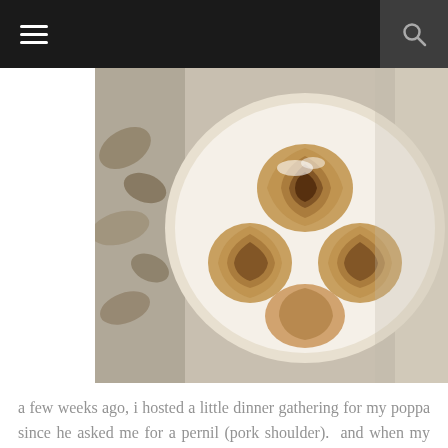[Figure (photo): Overhead view of cinnamon rolls or spiral buns on a plate, on a tablecloth with leaf patterns]
a few weeks ago, i hosted a little dinner gathering for my poppa since he asked me for a pernil (pork shoulder).  and when my poppa asks me for a special dish, i make sure to deliver because it's not every day that he asks me to cook for him.  and not to mention, i absolutely love hosting!  i noticed i don't invite people over really in the summer time since it's too hot to be